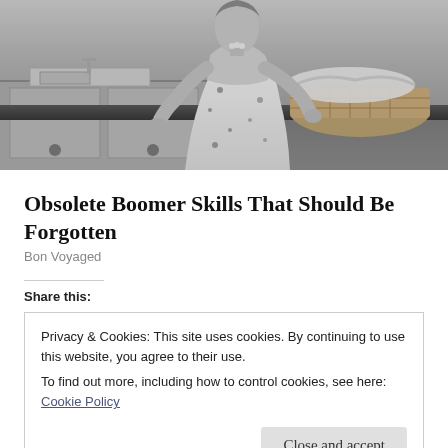[Figure (photo): Black and white vintage photo of a woman in a floral apron working in a 1950s kitchen with a laundry basket on the counter]
Obsolete Boomer Skills That Should Be Forgotten
Bon Voyaged
Share this:
Privacy & Cookies: This site uses cookies. By continuing to use this website, you agree to their use.
To find out more, including how to control cookies, see here: Cookie Policy
Close and accept